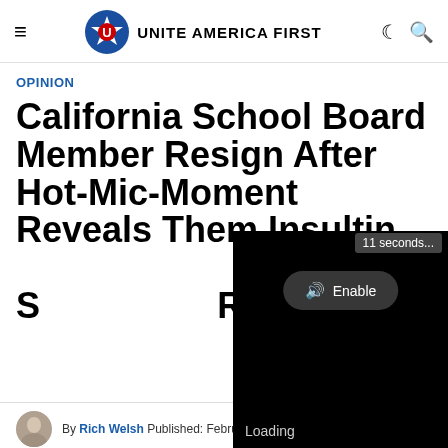UNITE AMERICA FIRST
OPINION
California School Board Member Resign After Hot-Mic-Moment Reveals Them Insulting [Parents Who] Want Schools To Reopen
[Figure (screenshot): Video player overlay showing black background with '11 seconds...' timer, an 'Enable' audio button, and 'Loading' text at bottom]
By Rich Welsh Published: February 21, 2021